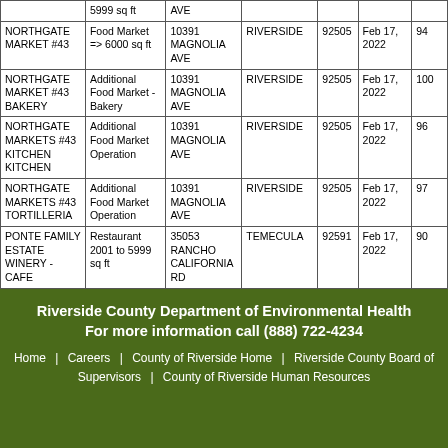| Name | Type | Address | City | Zip | Date | Score |
| --- | --- | --- | --- | --- | --- | --- |
|  | 5999 sq ft | AVE |  |  |  |  |
| NORTHGATE MARKET #43 | Food Market => 6000 sq ft | 10391 MAGNOLIA AVE | RIVERSIDE | 92505 | Feb 17, 2022 | 94 |
| NORTHGATE MARKET #43 BAKERY | Additional Food Market - Bakery | 10391 MAGNOLIA AVE | RIVERSIDE | 92505 | Feb 17, 2022 | 100 |
| NORTHGATE MARKETS #43 KITCHEN KITCHEN | Additional Food Market Operation | 10391 MAGNOLIA AVE | RIVERSIDE | 92505 | Feb 17, 2022 | 96 |
| NORTHGATE MARKETS #43 TORTILLERIA | Additional Food Market Operation | 10391 MAGNOLIA AVE | RIVERSIDE | 92505 | Feb 17, 2022 | 97 |
| PONTE FAMILY ESTATE WINERY - CAFE | Restaurant 2001 to 5999 sq ft | 35053 RANCHO CALIFORNIA RD | TEMECULA | 92591 | Feb 17, 2022 | 90 |
Riverside County Department of Environmental Health
For more information call (888) 722-4234
Home | Careers | County of Riverside Home | Riverside County Board of Supervisors | County of Riverside Human Resources